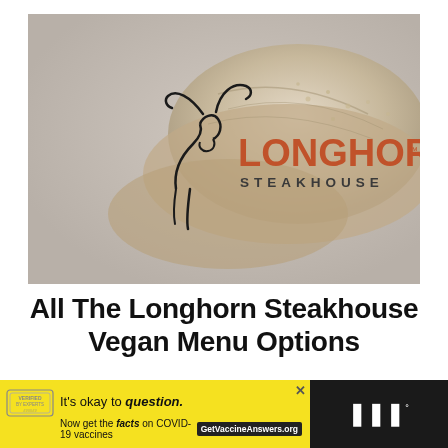[Figure (photo): Longhorn Steakhouse logo overlaid on a background showing a bread loaf with a grayish-tan background. The logo features a stylized black longhorn cattle head silhouette with the text 'LONGHORN' in large burnt-orange letters and 'STEAKHOUSE' in smaller dark gray letters beneath.]
All The Longhorn Steakhouse Vegan Menu Options
[Figure (infographic): Advertisement banner at the bottom. Yellow section with a stamp graphic reading 'It's okay to question. Now get the facts on COVID-19 vaccines GetVaccineAnswers.org'. Dark/black right section with a stylized 'W' logo with a degree symbol.]